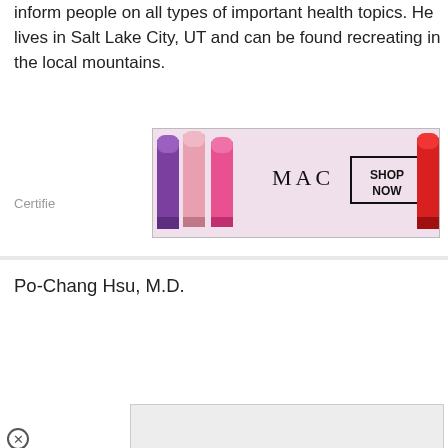inform people on all types of important health topics. He lives in Salt Lake City, UT and can be found recreating in the local mountains.
[Figure (screenshot): MAC cosmetics advertisement banner showing lipsticks in purple, pink, and red with MAC logo and SHOP NOW button]
Certified
Po-Chang Hsu, M.D.
[Figure (screenshot): Advertisement overlay showing beauty products with black panel covering part of screen, text reading 'Y PRODUCTS UCH GOOD YOU MIGHT WANT TO TRY THEM YOURSELF' with Weleda product visible and a teal badge showing '22', with a CLOSE button]
[Figure (screenshot): ULTA beauty advertisement banner showing makeup images with SHOP NOW button]